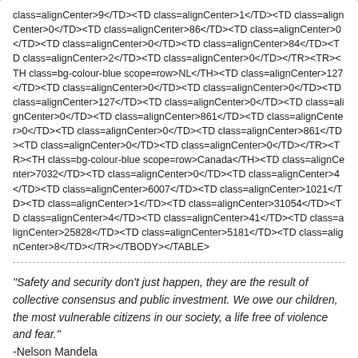class=alignCenter>9</TD><TD class=alignCenter>1</TD><TD class=alignCenter>0</TD><TD class=alignCenter>86</TD><TD class=alignCenter>0</TD><TD class=alignCenter>0</TD><TD class=alignCenter>84</TD><TD class=alignCenter>2</TD><TD class=alignCenter>0</TD></TR><TR><TH class=bg-colour-blue scope=row>NL</TH><TD class=alignCenter>127</TD><TD class=alignCenter>0</TD><TD class=alignCenter>0</TD><TD class=alignCenter>127</TD><TD class=alignCenter>0</TD><TD class=alignCenter>0</TD><TD class=alignCenter>861</TD><TD class=alignCenter>0</TD><TD class=alignCenter>0</TD><TD class=alignCenter>861</TD><TD class=alignCenter>0</TD><TD class=alignCenter>0</TD></TR><TR><TH class=bg-colour-blue scope=row>Canada</TH><TD class=alignCenter>7032</TD><TD class=alignCenter>0</TD><TD class=alignCenter>4</TD><TD class=alignCenter>6007</TD><TD class=alignCenter>1021</TD><TD class=alignCenter>1</TD><TD class=alignCenter>31054</TD><TD class=alignCenter>4</TD><TD class=alignCenter>41</TD><TD class=alignCenter>25828</TD><TD class=alignCenter>5181</TD><TD class=alignCenter>8</TD></TR></TBODY></TABLE>
"Safety and security don't just happen, they are the result of collective consensus and public investment. We owe our children, the most vulnerable citizens in our society, a life free of violence and fear." -Nelson Mandela
Pathfinder